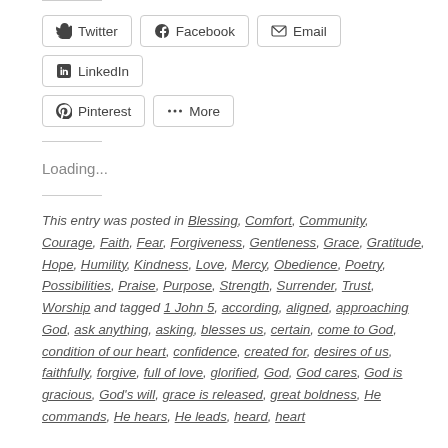Twitter
Facebook
Email
LinkedIn
Pinterest
More
Loading...
This entry was posted in Blessing, Comfort, Community, Courage, Faith, Fear, Forgiveness, Gentleness, Grace, Gratitude, Hope, Humility, Kindness, Love, Mercy, Obedience, Poetry, Possibilities, Praise, Purpose, Strength, Surrender, Trust, Worship and tagged 1 John 5, according, aligned, approaching God, ask anything, asking, blesses us, certain, come to God, condition of our heart, confidence, created for, desires of us, faithfully, forgive, full of love, glorified, God, God cares, God is gracious, God's will, grace is released, great boldness, He commands, He hears, He leads, heard, heart